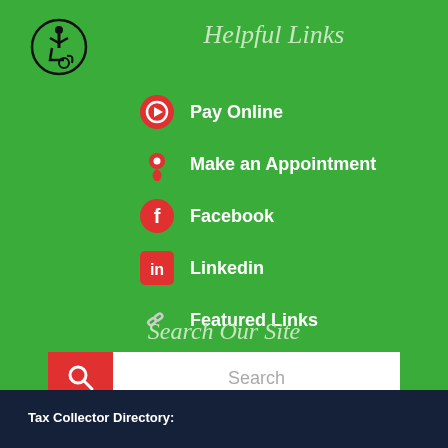Helpful Links
Pay Online
Make an Appointment
Facebook
Linkedin
Featured Links
Search Our Site
Search
Tax Collector Directory: